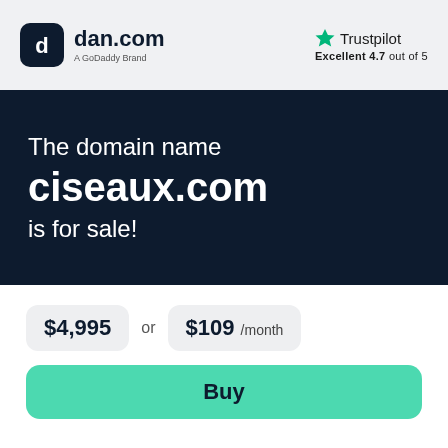[Figure (logo): dan.com logo with rounded square icon and text 'dan.com' with subtitle 'A GoDaddy Brand']
[Figure (logo): Trustpilot logo with green star and text 'Trustpilot', rating 'Excellent 4.7 out of 5']
The domain name ciseaux.com is for sale!
$4,995 or $109 /month
Buy